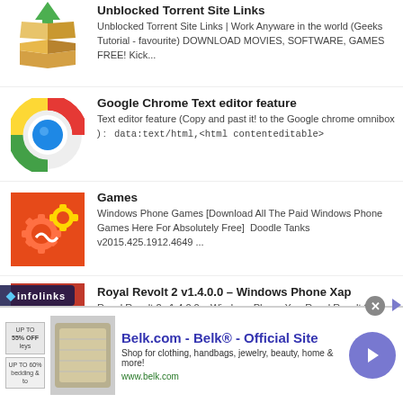Unblocked Torrent Site Links | Work Anyware in the world (Geeks Tutorial - favourite) DOWNLOAD MOVIES, SOFTWARE, GAMES FREE!  Kick...
Google Chrome Text editor feature
Text editor feature (Copy and past it! to the Google chrome omnibox ) :  data:text/html,<html contenteditable>
Games
Windows Phone Games [Download All The Paid Windows Phone Games Here For Absolutely Free]  Doodle Tanks v2015.425.1912.4649 ...
Royal Revolt 2 v1.4.0.0 – Windows Phone Xap
Royal Revolt 2 v1.4.0.0 – Windows Phone Xap Royal Revolt 2 v1.4.0.0 – Windows Phone Xap Cracked Xap for all region n devices[!]
[Figure (infographic): Infolinks badge overlay on page]
[Figure (infographic): Advertisement banner: Belk.com - Belk® - Official Site. Shop for clothing, handbags, jewelry, beauty, home & more! www.belk.com. With close button and arrow button.]